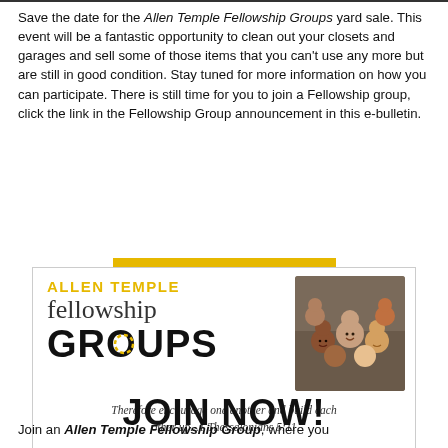Save the date for the Allen Temple Fellowship Groups yard sale. This event will be a fantastic opportunity to clean out your closets and garages and sell some of those items that you can't use any more but are still in good condition. Stay tuned for more information on how you can participate. There is still time for you to join a Fellowship group, click the link in the Fellowship Group announcement in this e-bulletin.
[Figure (other): Allen Temple Fellowship Groups promotional card with logo text 'ALLEN TEMPLE fellowship GROUPS' on left, group photo of diverse smiling people on right, and Bible verse 'Therefore encourage one another and build each other up...1 Thessalonians 5:11' at bottom. Gold horizontal bar at top and bottom of card.]
JOIN NOW!
Join an Allen Temple Fellowship Group, where you